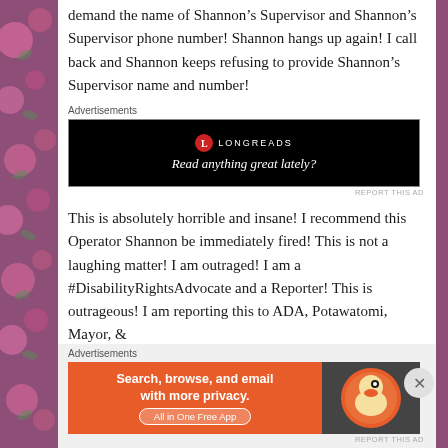demand the name of Shannon’s Supervisor and Shannon’s Supervisor phone number! Shannon hangs up again! I call back and Shannon keeps refusing to provide Shannon’s Supervisor name and number!
[Figure (screenshot): Longreads advertisement banner: black background with Longreads logo and tagline 'Read anything great lately?']
This is absolutely horrible and insane! I recommend this Operator Shannon be immediately fired! This is not a laughing matter! I am outraged! I am a #DisabilityRightsAdvocate and a Reporter! This is outrageous! I am reporting this to ADA, Potawatomi, Mayor, &
[Figure (screenshot): DuckDuckGo advertisement: orange panel with text 'Search, browse, and email with more privacy. All in One Free App' and DuckDuckGo duck logo on dark background.]